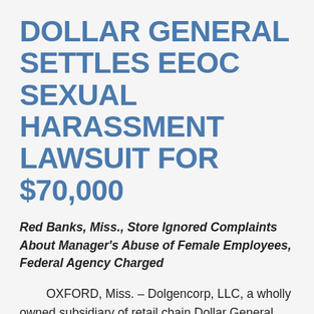DOLLAR GENERAL SETTLES EEOC SEXUAL HARASSMENT LAWSUIT FOR $70,000
Red Banks, Miss., Store Ignored Complaints About Manager's Abuse of Female Employees, Federal Agency Charged
OXFORD, Miss. – Dolgencorp, LLC, a wholly owned subsidiary of retail chain Dollar General Corporation, will pay $70,000 and provide other relief to settle a sexual harassment lawsuit filed by the U.S. Equal...